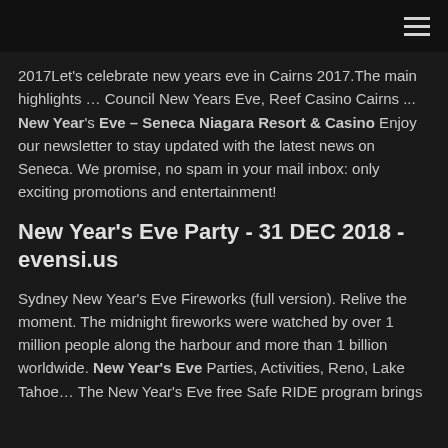[hamburger menu icon]
2017Let's celebrate new years eve in Cairns 2017.The main highlights … Council New Years Eve, Reef Casino Cairns ... New Year's Eve – Seneca Niagara Resort & Casino Enjoy our newsletter to stay updated with the latest news on Seneca. We promise, no spam in your mail inbox: only exciting promotions and entertainment!
New Year's Eve Party - 31 DEC 2018 - evensi.us
Sydney New Year's Eve Fireworks (full version). Relive the moment. The midnight fireworks were watched by over 1 million people along the harbour and more than 1 billion worldwide. New Year's Eve Parties, Activities, Reno, Lake Tahoe… The New Year's Eve free Safe RIDE program brings